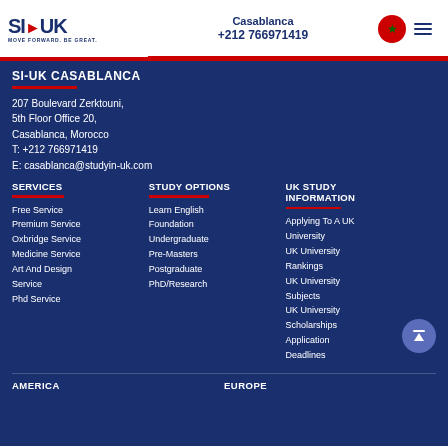SI-UK | MOVE FORWARD. BE GREAT. | Casablanca | +212 766971419
SI-UK CASABLANCA
207 Boulevard Zerktouni,
5th Floor Office 20,
Casablanca, Morocco
T: +212 766971419
E: casablanca@studyin-uk.com
SERVICES
Free Service
Premium Service
Oxbridge Service
Medicine Service
Art And Design Service
Phd Service
STUDY OPTIONS
Learn English
Foundation
Undergraduate
Pre-Masters
Postgraduate
PhD/Research
UK STUDY INFORMATION
Applying To A UK University
UK University Rankings
UK University Subjects
UK University Scholarships
Application Deadlines
AMERICA
EUROPE